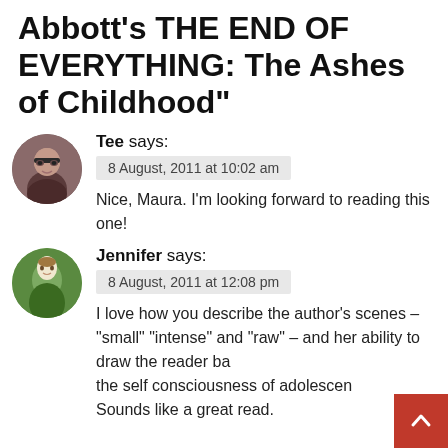Abbott's THE END OF EVERYTHING: The Ashes of Childhood"
Tee says:
8 August, 2011 at 10:02 am
Nice, Maura. I'm looking forward to reading this one!
Jennifer says:
8 August, 2011 at 12:08 pm
I love how you describe the author's scenes – "small" "intense" and "raw" – and her ability to draw the reader back to the self consciousness of adolescence. Sounds like a great read.